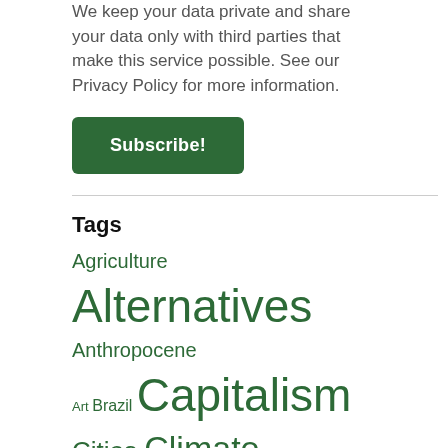We keep your data private and share your data only with third parties that make this service possible. See our Privacy Policy for more information.
[Figure (other): Green Subscribe! button]
Tags
Agriculture Alternatives Anthropocene Art Brazil Capitalism Cities Climate change Climate crisis Climate justice Colonialism, Post-colonialism & Decolonization Commoning Commons Conflicts Conservation & Biodiversity COVID-19 Culture Decolonial Political Ecologies Degrowth Democracy Development Disaster Energy Environmental Change Environmental History Environmental Justice Environmental movements Extractivism Food Forests Green inequalities